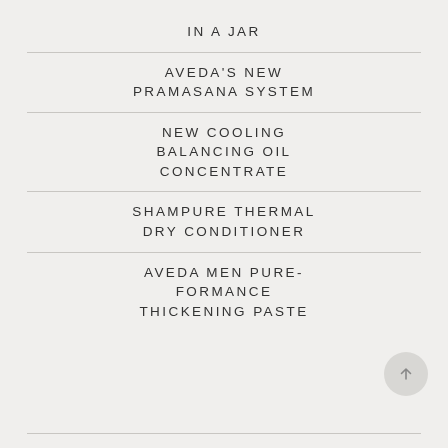IN A JAR
AVEDA'S NEW PRAMASANA SYSTEM
NEW COOLING BALANCING OIL CONCENTRATE
SHAMPURE THERMAL DRY CONDITIONER
AVEDA MEN PURE-FORMANCE THICKENING PASTE
[Figure (illustration): Circular scroll-up button with an upward arrow icon]